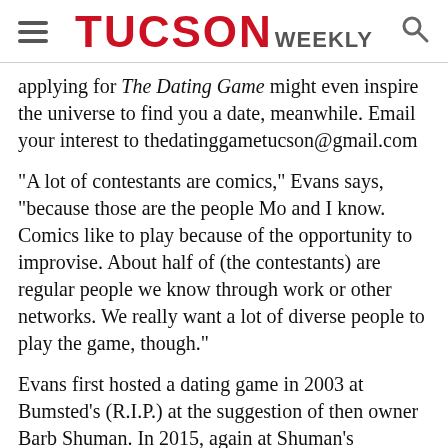TUCSON WEEKLY
applying for The Dating Game might even inspire the universe to find you a date, meanwhile. Email your interest to thedatinggametucson@gmail.com
“A lot of contestants are comics,” Evans says, “because those are the people Mo and I know. Comics like to play because of the opportunity to improvise. About half of (the contestants) are regular people we know through work or other networks. We really want a lot of diverse people to play the game, though.”
Evans first hosted a dating game in 2003 at Bumsted’s (R.I.P.) at the suggestion of then owner Barb Shuman. In 2015, again at Shuman’s